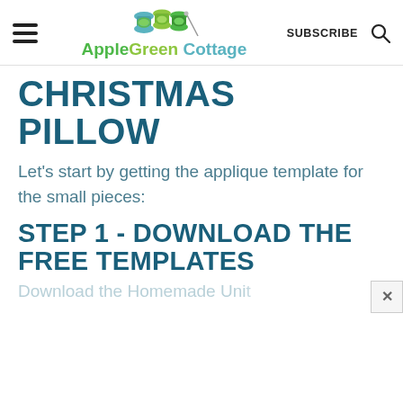AppleGreen Cottage — SUBSCRIBE
CHRISTMAS PILLOW
Let's start by getting the applique template for the small pieces:
STEP 1 - DOWNLOAD THE FREE TEMPLATES
Download the Homemade University